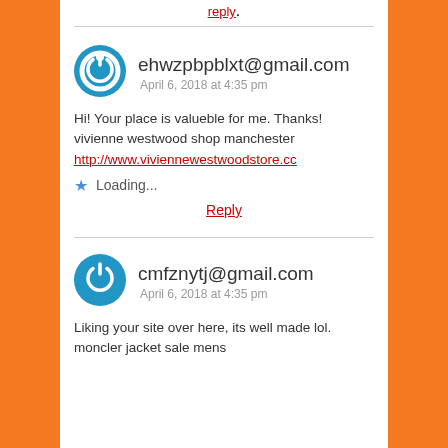Reply.
ehwzpbpblxt@gmail.com
April 6, 2018 at 4:35 pm
Hi! Your place is valueble for me. Thanks!
vivienne westwood shop manchester
http://www.viviennewestwoodstore.cc
Loading...
Reply
cmfznytj@gmail.com
April 6, 2018 at 4:35 pm
Liking your site over here, its well made lol.
moncler jacket sale mens